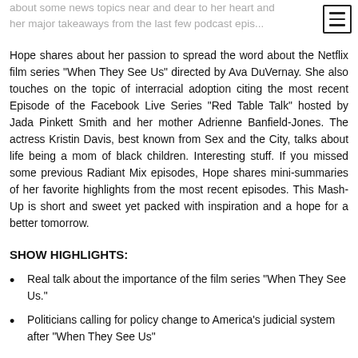about some news topics near and dear to her heart and her major takeaways from the last few podcast episodes.
Hope shares about her passion to spread the word about the Netflix film series "When They See Us" directed by Ava DuVernay. She also touches on the topic of interracial adoption citing the most recent Episode of the Facebook Live Series "Red Table Talk" hosted by Jada Pinkett Smith and her mother Adrienne Banfield-Jones. The actress Kristin Davis, best known from Sex and the City, talks about life being a mom of black children. Interesting stuff. If you missed some previous Radiant Mix episodes, Hope shares mini-summaries of her favorite highlights from the most recent episodes. This Mash-Up is short and sweet yet packed with inspiration and a hope for a better tomorrow.
SHOW HIGHLIGHTS:
Real talk about the importance of the film series "When They See Us."
Politicians calling for policy change to America's judicial system after "When They See Us"
The panel criticism of interracial adoption on Red Table Talk